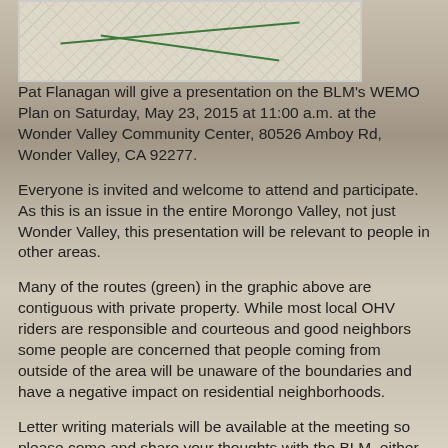[Figure (map): Topographic map showing BLM WEMO plan routes in green over the Wonder Valley area]
Pat Flanagan will give a presentation on the BLM's WEMO Plan on Saturday, May 23, 2015 at 11:00 a.m. at the Wonder Valley Community Center, 80526 Amboy Rd, Wonder Valley, CA 92277.
Everyone is invited and welcome to attend and participate. As this is an issue in the entire Morongo Valley, not just Wonder Valley, this presentation will be relevant to people in other areas.
Many of the routes (green) in the graphic above are contiguous with private property. While most local OHV riders are responsible and courteous and good neighbors some people are concerned that people coming from outside of the area will be unaware of the boundaries and have a negative impact on residential neighborhoods.
Letter writing materials will be available at the meeting so please come and share your thoughts with the BLM, either for or against the Plan.